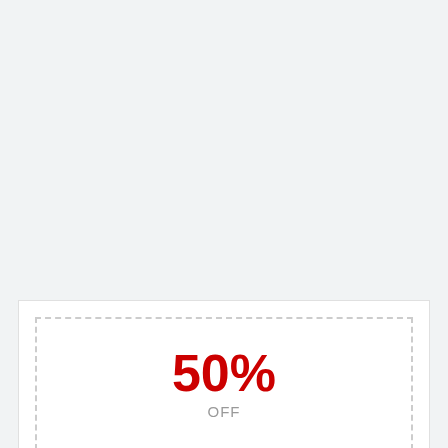[Figure (infographic): Coupon graphic showing 50% OFF in large red text with dashed border]
Special Offer! 50% Away from Your Get